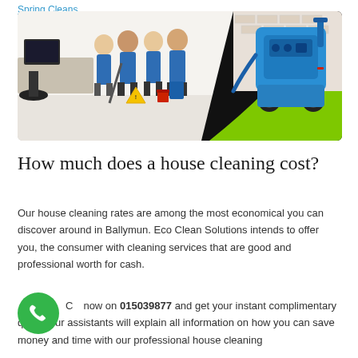Spring Cleans
[Figure (photo): A photo composite: on the left, four cleaning staff in blue uniforms standing in an office with cleaning equipment (mop, yellow caution sign, red bucket); on the right, a large blue professional carpet cleaning machine. The images are merged with a black and green diagonal wave transition.]
How much does a house cleaning cost?
Our house cleaning rates are among the most economical you can discover around in Ballymun. Eco Clean Solutions intends to offer you, the consumer with cleaning services that are good and professional worth for cash.
Call now on 015039877 and get your instant complimentary quote, our assistants will explain all information on how you can save money and time with our professional house cleaning